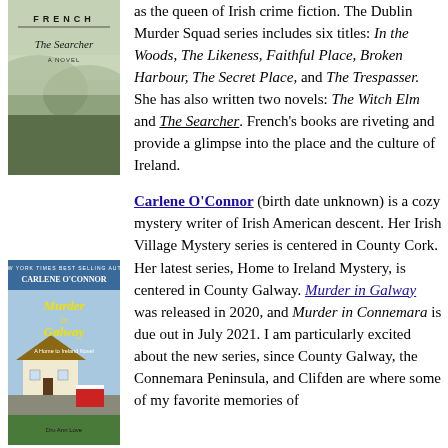[Figure (illustration): Book cover of 'The Searcher' by Tana French showing foggy landscape]
as the queen of Irish crime fiction. The Dublin Murder Squad series includes six titles: In the Woods, The Likeness, Faithful Place, Broken Harbour, The Secret Place, and The Trespasser. She has also written two novels: The Witch Elm and The Searcher. French's books are riveting and provide a glimpse into the place and the culture of Ireland.
Carlene O'Connor (birth date unknown) is a cozy mystery writer of Irish American descent. Her Irish Village Mystery series is centered in County Cork. Her latest series, Home to Ireland Mystery, is centered in County Galway. Murder in Galway was released in 2020, and Murder in Connemara is due out in July 2021. I am particularly excited about the new series, since County Galway, the Connemara Peninsula, and Clifden are where some of my favorite memories of
[Figure (illustration): Book cover of 'Murder in Galway' by Carlene O'Connor showing Irish countryside scene]